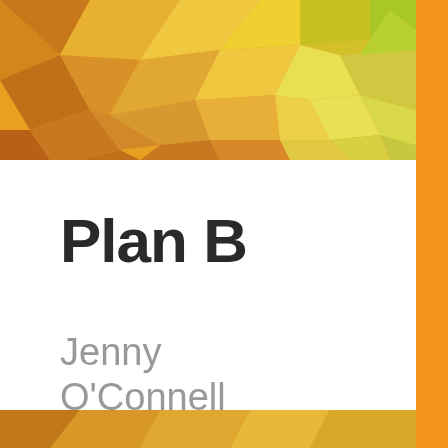[Figure (illustration): Book cover for 'Plan B' by Jenny O'Connell. Geometric low-poly polygon pattern in warm yellow, orange, gold, and green tones fills the top banner area and a partial bottom strip. A thick orange vertical stripe runs along the right edge. The main center panel is white with the bold title 'Plan B' and the author name 'Jenny O'Connell' in light gray.]
Plan B
Jenny O'Connell